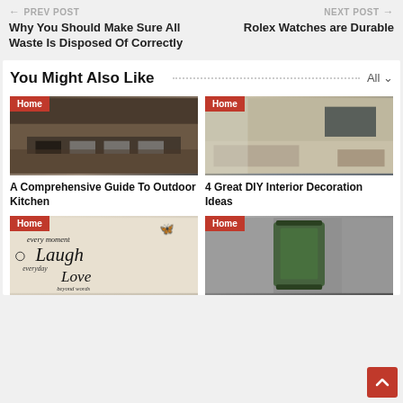← PREV POST | Why You Should Make Sure All Waste Is Disposed Of Correctly | NEXT POST → | Rolex Watches are Durable
You Might Also Like
[Figure (photo): Outdoor kitchen with dark countertops, stainless steel appliances, and wood ceiling]
A Comprehensive Guide To Outdoor Kitchen
[Figure (photo): Modern living room interior with TV on stone wall, shelving units, and glass coffee table]
4 Great DIY Interior Decoration Ideas
[Figure (photo): Wall art with cursive text reading every moment Laugh everyday Love beyond words, with butterfly decal]
[Figure (photo): Green decorative lantern against blurred background]